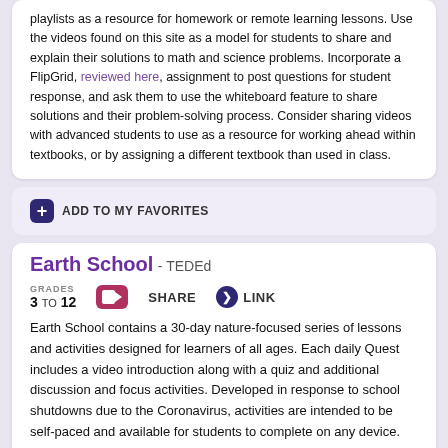playlists as a resource for homework or remote learning lessons. Use the videos found on this site as a model for students to share and explain their solutions to math and science problems. Incorporate a FlipGrid, reviewed here, assignment to post questions for student response, and ask them to use the whiteboard feature to share solutions and their problem-solving process. Consider sharing videos with advanced students to use as a resource for working ahead within textbooks, or by assigning a different textbook than used in class.
ADD TO MY FAVORITES
Earth School
- TEDEd
GRADES 3 TO 12
SHARE
LINK
Earth School contains a 30-day nature-focused series of lessons and activities designed for learners of all ages. Each daily Quest includes a video introduction along with a quiz and additional discussion and focus activities. Developed in response to school shutdowns due to the Coronavirus, activities are intended to be self-paced and available for students to complete on any device. Lessons are organized in weekly themes beginning with The Nature of Stuff that looks at items found in everyday life and builds toward The Nature of Change in the final week that focuses on ways individuals can work toward rebalancing fragile